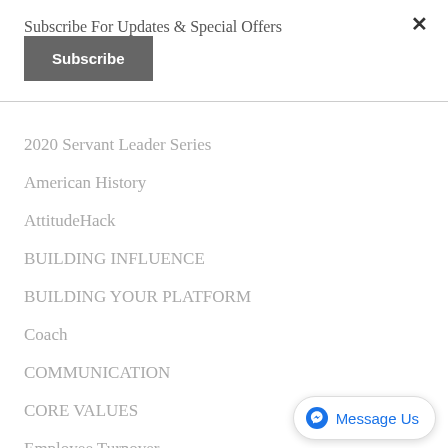Subscribe For Updates & Special Offers
Subscribe
2020 Servant Leader Series
American History
AttitudeHack
BUILDING INFLUENCE
BUILDING YOUR PLATFORM
Coach
COMMUNICATION
CORE VALUES
Employee Turnover
EMPLYEE TURNOVER
EXPECTATIONS
Message Us